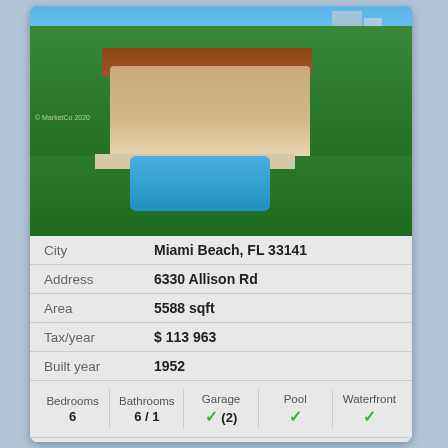[Figure (photo): Aerial view of a luxury Miami Beach property with red-tile roof house, swimming pool, palm trees and lush green landscaping, with high-rise buildings visible in the background]
| Field | Value |
| --- | --- |
| City | Miami Beach, FL 33141 |
| Address | 6330 Allison Rd |
| Area | 5588 sqft |
| Tax/year | $ 113 963 |
| Built year | 1952 |
| Bedrooms | Bathrooms | Garage | Pool | Waterfront |
| --- | --- | --- | --- | --- |
| 6 | 6 / 1 | ✓ (2) | ✓ | ✓ |
$ 15 300 000